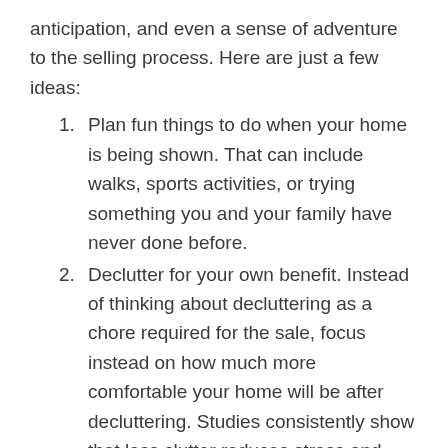anticipation, and even a sense of adventure to the selling process. Here are just a few ideas:
Plan fun things to do when your home is being shown. That can include walks, sports activities, or trying something you and your family have never done before.
Declutter for your own benefit. Instead of thinking about decluttering as a chore required for the sale, focus instead on how much more comfortable your home will be after decluttering. Studies consistently show that less clutter reduces stress and increases a sense of well-being.
Get everyone in your home anticipating the move in a positive way. Put pictures of your next home, including neighbourhood shots,